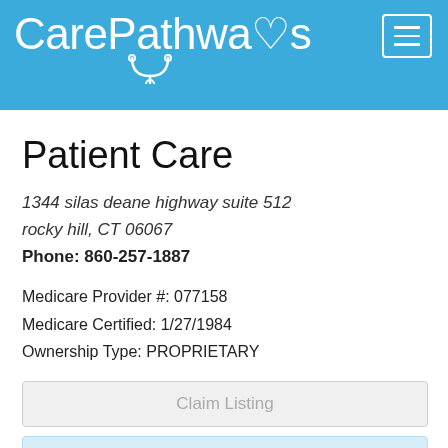CarePathways
Patient Care
1344 silas deane highway suite 512
rocky hill, CT 06067
Phone: 860-257-1887
Medicare Provider #: 077158
Medicare Certified: 1/27/1984
Ownership Type: PROPRIETARY
Claim Listing